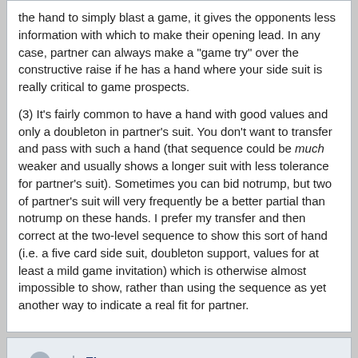the hand to simply blast a game, it gives the opponents less information with which to make their opening lead. In any case, partner can always make a "game try" over the constructive raise if he has a hand where your side suit is really critical to game prospects.

(3) It's fairly common to have a hand with good values and only a doubleton in partner's suit. You don't want to transfer and pass with such a hand (that sequence could be much weaker and usually shows a longer suit with less tolerance for partner's suit). Sometimes you can bid notrump, but two of partner's suit will very frequently be a better partial than notrump on these hands. I prefer my transfer and then correct at the two-level sequence to show this sort of hand (i.e. a five card side suit, doubleton support, values for at least a mild game invitation) which is otherwise almost impossible to show, rather than using the sequence as yet another way to indicate a real fit for partner.
Flame
2010-October-07, 04:22
awm, on Oct 6 2010, 06:02 PM, said: